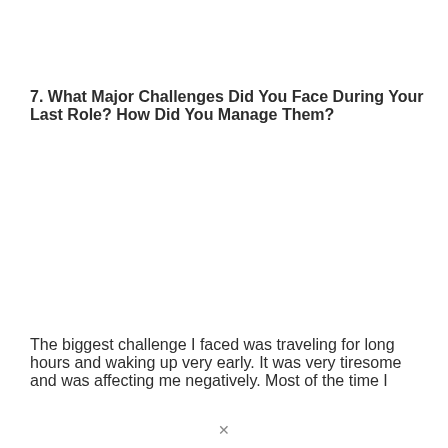7. What Major Challenges Did You Face During Your Last Role? How Did You Manage Them?
The biggest challenge I faced was traveling for long hours and waking up very early. It was very tiresome and was affecting me negatively. Most of the time I